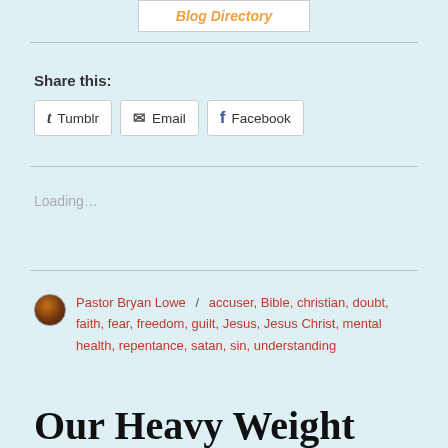[Figure (logo): Blog Directory logo/badge with orange italic text on white background with border]
Share this:
Tumblr   Email   Facebook
Loading…
Pastor Bryan Lowe / accuser, Bible, christian, doubt, faith, fear, freedom, guilt, Jesus, Jesus Christ, mental health, repentance, satan, sin, understanding
Our Heavy Weight